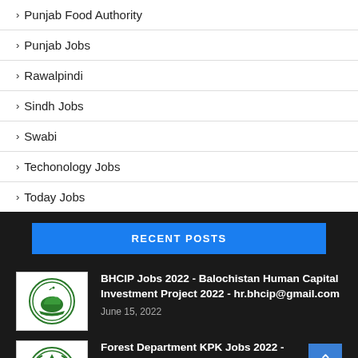Punjab Food Authority
Punjab Jobs
Rawalpindi
Sindh Jobs
Swabi
Techonology Jobs
Today Jobs
RECENT POSTS
[Figure (logo): BHCIP / Balochistan government logo - green circular emblem with camel]
BHCIP Jobs 2022 - Balochistan Human Capital Investment Project 2022 - hr.bhcip@gmail.com
June 15, 2022
[Figure (logo): Forest Department KPK logo - green circular emblem with pine tree]
Forest Department KPK Jobs 2022 - www.htspak.org.pk - www.examiner.org.pk
June 15, 2022